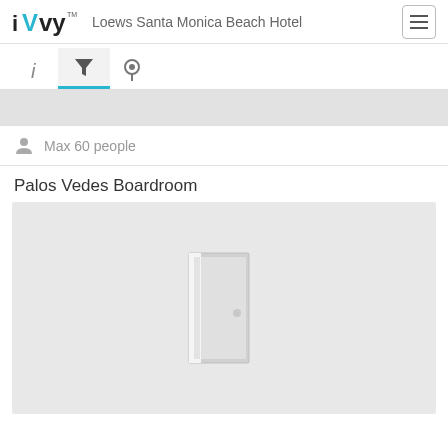iVvy  Loews Santa Monica Beach Hotel
[Figure (screenshot): Navigation tab bar with info (i), filter (funnel icon), and location (pin icon) tabs; filter tab is active with blue underline]
[Figure (screenshot): Gray band placeholder area]
Max 60 people
Palos Vedes Boardroom
[Figure (photo): Gray placeholder image with a door icon in the center, representing Palos Vedes Boardroom venue image]